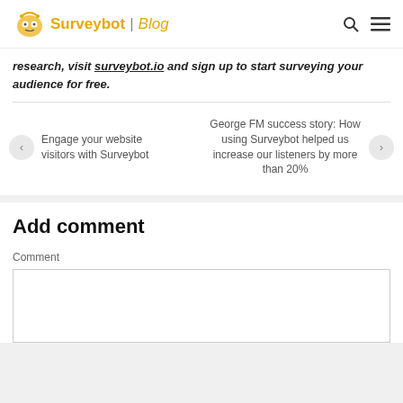Surveybot | Blog
research, visit surveybot.io and sign up to start surveying your audience for free.
Engage your website visitors with Surveybot
George FM success story: How using Surveybot helped us increase our listeners by more than 20%
Add comment
Comment